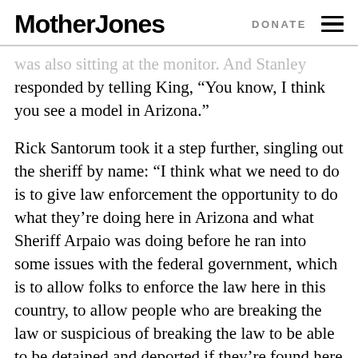Mother Jones | DONATE
was also sitting at the monitor. And Stanley responded by telling King, “You know, I think you see a model in Arizona.”
Rick Santorum took it a step further, singling out the sheriff by name: “I think what we need to do is to give law enforcement the opportunity to do what they’re doing here in Arizona and what Sheriff Arpaio was doing before he ran into some issues with the federal government, which is to allow folks to enforce the law here in this country, to allow people who are breaking the law or suspicious of breaking the law to be able to be detained and deported if they’re found here in this country illegally, as well as those who are trying to seek